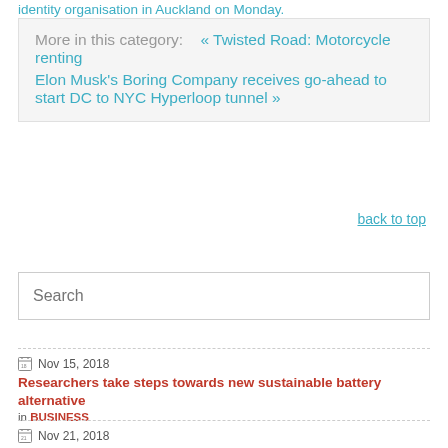identity organisation in Auckland on Monday.
More in this category:   « Twisted Road: Motorcycle renting   Elon Musk's Boring Company receives go-ahead to start DC to NYC Hyperloop tunnel »
back to top
Search
Nov 15, 2018
Researchers take steps towards new sustainable battery alternative
in BUSINESS
Nov 21, 2018